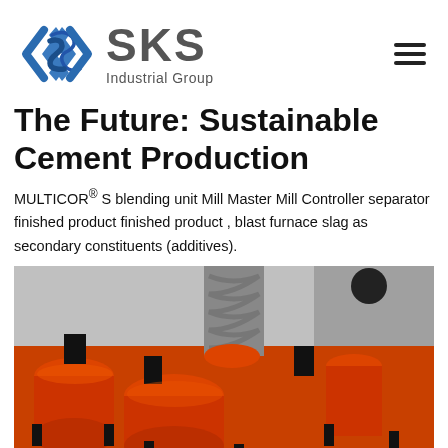SKS Industrial Group
The Future: Sustainable Cement Production
MULTICOR® S blending unit Mill Master Mill Controller separator finished product finished product , blast furnace slag as secondary constituents (additives).
[Figure (photo): Close-up photo of orange industrial machinery components including springs, cylinders, and mechanical parts on a cement mill or similar heavy industrial equipment.]